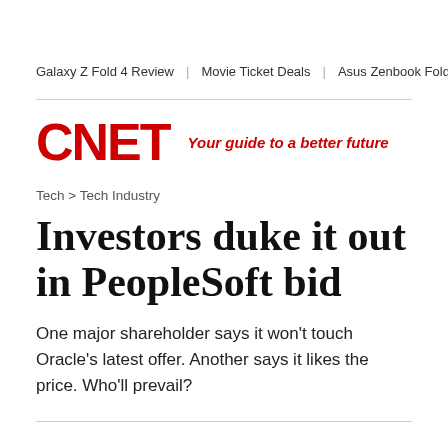Galaxy Z Fold 4 Review | Movie Ticket Deals | Asus Zenbook Fold OLI
[Figure (logo): CNET logo in red bold text with tagline 'Your guide to a better future' in red italic]
Tech > Tech Industry
Investors duke it out in PeopleSoft bid
One major shareholder says it won't touch Oracle's latest offer. Another says it likes the price. Who'll prevail?